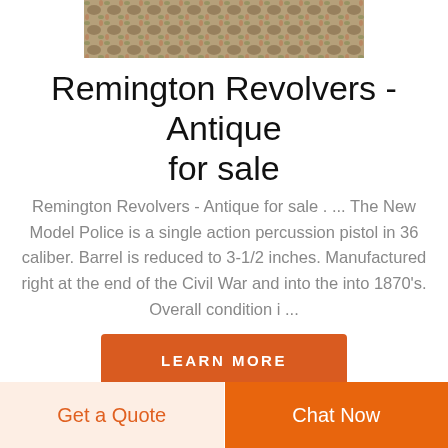[Figure (photo): Partial view of a floral/tapestry patterned image at the top of the page, cropped]
Remington Revolvers - Antique for sale
Remington Revolvers - Antique for sale . ... The New Model Police is a single action percussion pistol in 36 caliber. Barrel is reduced to 3-1/2 inches. Manufactured right at the end of the Civil War and into the into 1870's. Overall condition i ...
LEARN MORE
Get a Quote
Chat Now